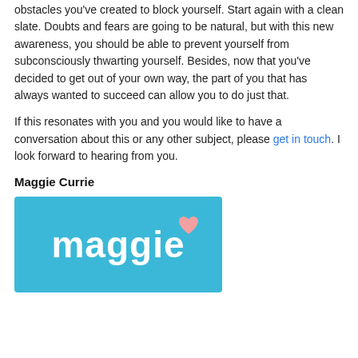obstacles you've created to block yourself. Start again with a clean slate. Doubts and fears are going to be natural, but with this new awareness, you should be able to prevent yourself from subconsciously thwarting yourself. Besides, now that you've decided to get out of your own way, the part of you that has always wanted to succeed can allow you to do just that.
If this resonates with you and you would like to have a conversation about this or any other subject, please get in touch. I look forward to hearing from you.
Maggie Currie
[Figure (logo): Blue rounded rectangle logo with white text 'maggie' and a pink heart above the letter 'i']